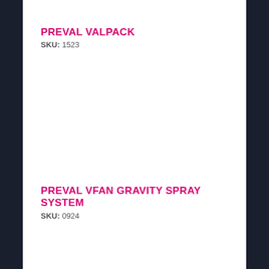PREVAL VALPACK
SKU: 1523
PREVAL VFAN GRAVITY SPRAY SYSTEM
SKU: 0924